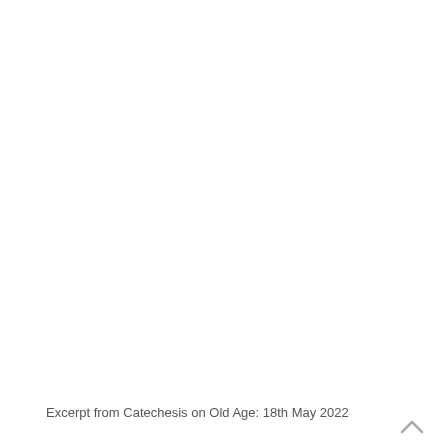Excerpt from Catechesis on Old Age: 18th May 2022